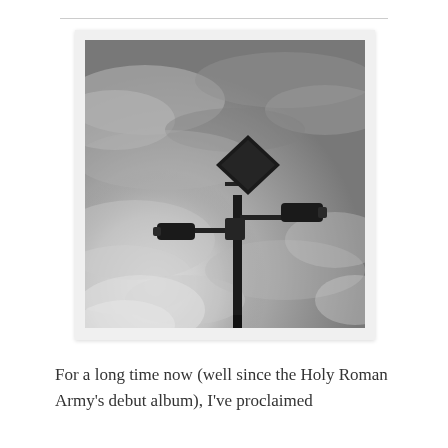[Figure (photo): Black and white photograph of a security camera pole with two CCTV cameras and a solar panel mounted on top, against a dramatic cloudy sky. The image is displayed with a white border/mat giving it a polaroid-style look.]
For a long time now (well since the Holy Roman Army's debut album), I've proclaimed